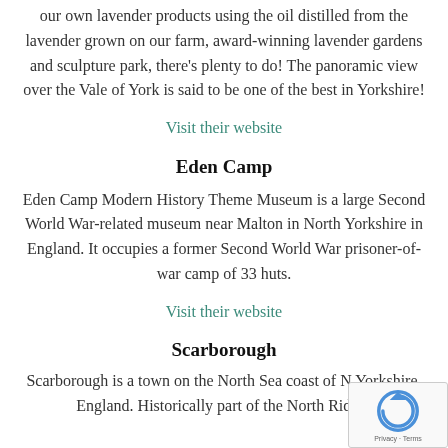our own lavender products using the oil distilled from the lavender grown on our farm, award-winning lavender gardens and sculpture park, there's plenty to do! The panoramic view over the Vale of York is said to be one of the best in Yorkshire!
Visit their website
Eden Camp
Eden Camp Modern History Theme Museum is a large Second World War-related museum near Malton in North Yorkshire in England. It occupies a former Second World War prisoner-of-war camp of 33 huts.
Visit their website
Scarborough
Scarborough is a town on the North Sea coast of North Yorkshire, England. Historically part of the North Riding